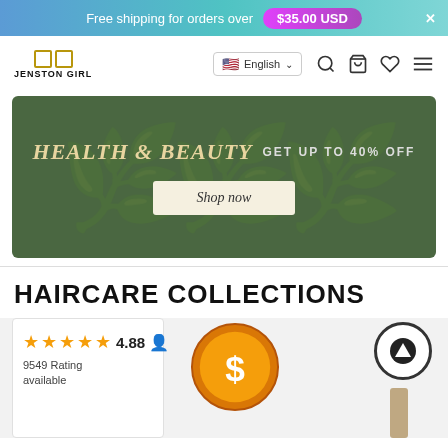Free shipping for orders over $35.00 USD
[Figure (logo): Jenston Girl logo with two squares and brand name]
English
[Figure (infographic): Health & Beauty banner — GET UP TO 40% OFF, Shop now button, dark green background]
HAIRCARE COLLECTIONS
[Figure (infographic): 4.88 star rating badge with 9549 Rating available text]
[Figure (infographic): Orange dollar sign coin icon for pricing]
[Figure (infographic): Product image with up-arrow circle badge]